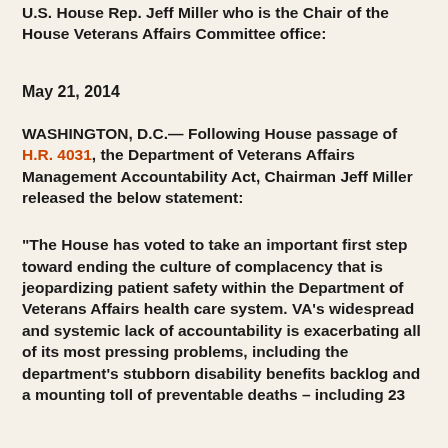U.S. House Rep. Jeff Miller who is the Chair of the House Veterans Affairs Committee office:
May 21, 2014
WASHINGTON, D.C.— Following House passage of H.R. 4031, the Department of Veterans Affairs Management Accountability Act, Chairman Jeff Miller released the below statement:
“The House has voted to take an important first step toward ending the culture of complacency that is jeopardizing patient safety within the Department of Veterans Affairs health care system. VA’s widespread and systemic lack of accountability is exacerbating all of its most pressing problems, including the department’s stubborn disability benefits backlog and a mounting toll of preventable deaths – including 23